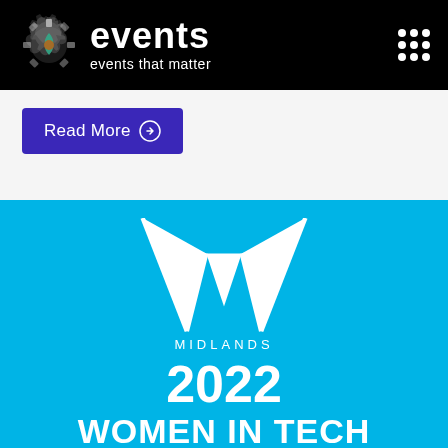[Figure (logo): b6 events logo with gear/leaf icon on black nav bar, text 'events' in bold white with tagline 'events that matter' below, and a 3x3 dot grid menu icon on the right]
Read More →
[Figure (logo): Women in Tech Midlands 2022 logo on cyan background: stylized W shape made of white triangular forms, text 'MIDLANDS' below in white, '2022' in large bold white, 'WOMEN IN TECH' in bold white at bottom]